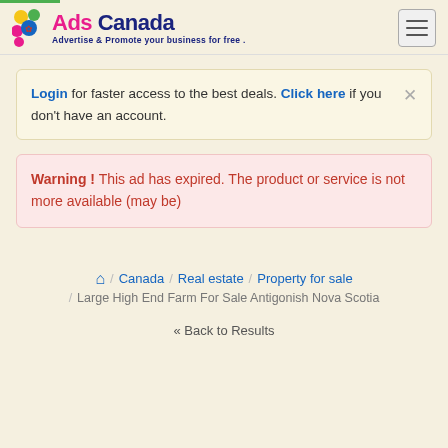Ads Canada — Advertise & Promote your business for free .
Login for faster access to the best deals. Click here if you don't have an account.
Warning ! This ad has expired. The product or service is not more available (may be)
Home / Canada / Real estate / Property for sale / Large High End Farm For Sale Antigonish Nova Scotia
« Back to Results